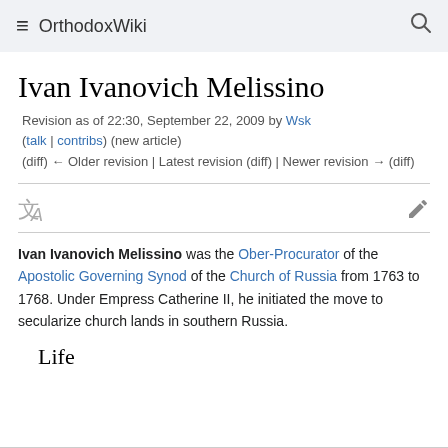OrthodoxWiki
Ivan Ivanovich Melissino
Revision as of 22:30, September 22, 2009 by Wsk (talk | contribs) (new article) (diff) ← Older revision | Latest revision (diff) | Newer revision → (diff)
Ivan Ivanovich Melissino was the Ober-Procurator of the Apostolic Governing Synod of the Church of Russia from 1763 to 1768. Under Empress Catherine II, he initiated the move to secularize church lands in southern Russia.
Life